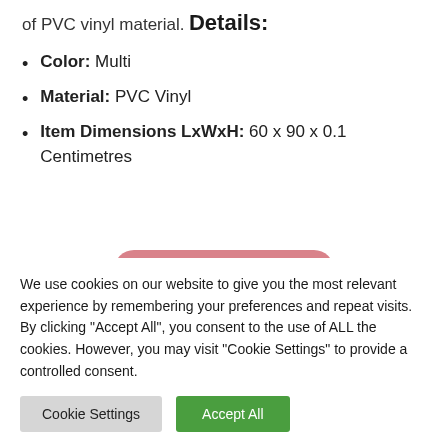of PVC vinyl material.
Details:
Color: Multi
Material: PVC Vinyl
Item Dimensions LxWxH: 60 x 90 x 0.1 Centimetres
We use cookies on our website to give you the most relevant experience by remembering your preferences and repeat visits. By clicking "Accept All", you consent to the use of ALL the cookies. However, you may visit "Cookie Settings" to provide a controlled consent.
Cookie Settings | Accept All